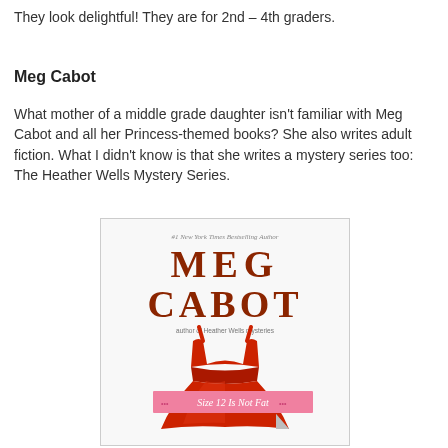They look delightful! They are for 2nd – 4th graders.
Meg Cabot
What mother of a middle grade daughter isn't familiar with Meg Cabot and all her Princess-themed books? She also writes adult fiction. What I didn't know is that she writes a mystery series too: The Heather Wells Mystery Series.
[Figure (photo): Book cover of 'Size 12 Is Not Fat' by Meg Cabot, featuring a red dress and the author's name in large brown text on a white background.]